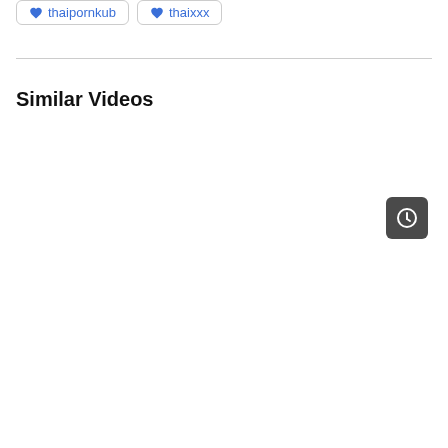[Figure (screenshot): Two site logo buttons: thaipornkub and thaixxx, each with a blue heart-diamond icon and text, bordered rounded rectangles]
Similar Videos
[Figure (other): Dark rounded square button with a clock/arrow icon in the upper right area of the similar videos section]